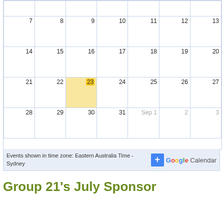[Figure (other): Google Calendar widget showing August dates. Rows with dates 7-13, 14-20, 21-27 (23 highlighted in yellow as today), 28-31 and Sep 1-3. Footer bar says 'Events shown in time zone: Eastern Australia Time - Sydney' with Google Calendar logo and + button.]
Events shown in time zone: Eastern Australia Time - Sydney
Group 21’s July Sponsor